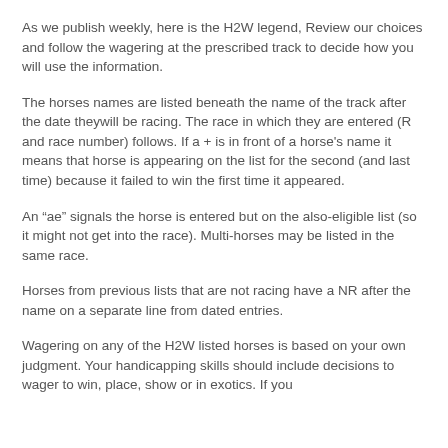As we publish weekly, here is the H2W legend, Review our choices and follow the wagering at the prescribed track to decide how you will use the information.
The horses names are listed beneath the name of the track after the date theywill be racing. The race in which they are entered (R and race number) follows. If a + is in front of a horse's name it means that horse is appearing on the list for the second (and last time) because it failed to win the first time it appeared.
An “ae” signals the horse is entered but on the also-eligible list (so it might not get into the race). Multi-horses may be listed in the same race.
Horses from previous lists that are not racing have a NR after the name on a separate line from dated entries.
Wagering on any of the H2W listed horses is based on your own judgment. Your handicapping skills should include decisions to wager to win, place, show or in exotics. If you